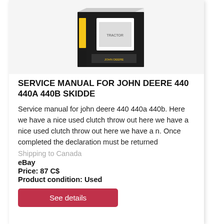[Figure (photo): A John Deere service manual binder shown at an angle, black cover with yellow text and a tractor image on the front, white pages visible on the side.]
SERVICE MANUAL FOR JOHN DEERE 440 440A 440B SKIDDE
Service manual for john deere 440 440a 440b. Here we have a nice used clutch throw out here we have a nice used clutch throw out here we have a n. Once completed the declaration must be returned
Shipping to Canada
eBay
Price: 87 C$
Product condition: Used
See details